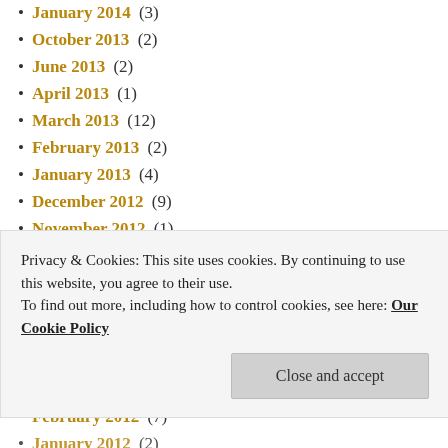January 2014 (3)
October 2013 (2)
June 2013 (2)
April 2013 (1)
March 2013 (12)
February 2013 (2)
January 2013 (4)
December 2012 (9)
November 2012 (1)
September 2012 (4)
August 2012 (4)
July 2012 (9)
June 2012 (2)
April 2012 (3)
March 2012 (21)
February 2012 (7)
January 2012 (2)
Privacy & Cookies: This site uses cookies. By continuing to use this website, you agree to their use. To find out more, including how to control cookies, see here: Our Cookie Policy
Close and accept